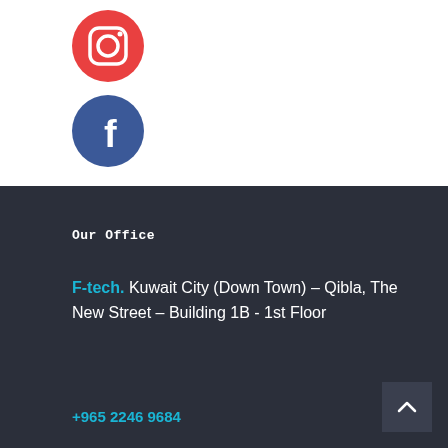[Figure (logo): Instagram icon — red/orange circle with white camera icon]
[Figure (logo): Facebook icon — blue circle with white lowercase f]
Our Office
F-tech. Kuwait City (Down Town) – Qibla, The New Street – Building 1B - 1st Floor
+965 2246 9684